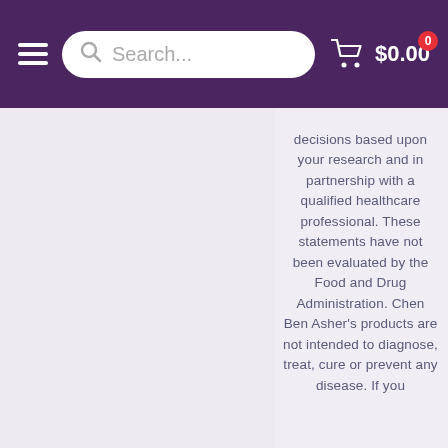Search... $0.00
decisions based upon your research and in partnership with a qualified healthcare professional. These statements have not been evaluated by the Food and Drug Administration. Chen Ben Asher's products are not intended to diagnose, treat, cure or prevent any disease. If you